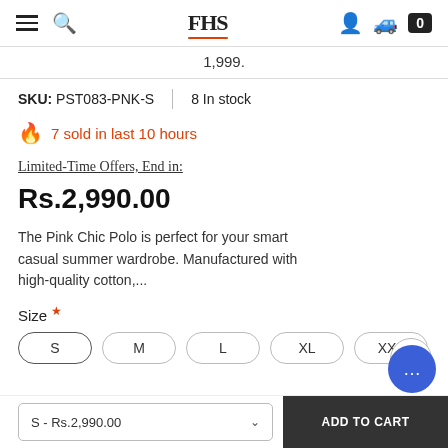FHS (logo) — navigation bar with hamburger, search, account, truck, cart icons
1,999.
SKU: PST083-PNK-S   |   8 In stock
🔥 7 sold in last 10 hours
Limited-Time Offers, End in:
Rs.2,990.00
The Pink Chic Polo is perfect for your smart casual summer wardrobe. Manufactured with high-quality cotton,...
Size *
S   M   L   XL   XXL
S - Rs.2,990.00   ADD TO CART